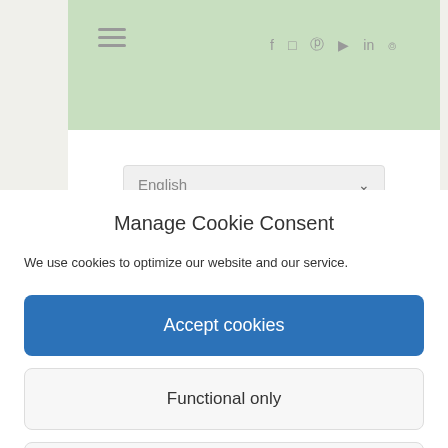[Figure (screenshot): Website header with hamburger menu icon on the left and social media icons (Facebook, Instagram, Pinterest, YouTube, LinkedIn, RSS) on the right, on a light green background]
[Figure (screenshot): Language selector dropdown showing 'English' with a chevron arrow, on a light gray background inside a white card]
Manage Cookie Consent
We use cookies to optimize our website and our service.
Accept cookies
Functional only
View preferences